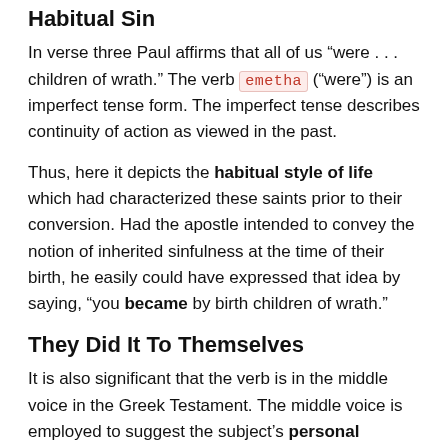Habitual Sin
In verse three Paul affirms that all of us “were . . . children of wrath.” The verb emetha (“were”) is an imperfect tense form. The imperfect tense describes continuity of action as viewed in the past.
Thus, here it depicts the habitual style of life which had characterized these saints prior to their conversion. Had the apostle intended to convey the notion of inherited sinfulness at the time of their birth, he easily could have expressed that idea by saying, “you became by birth children of wrath.”
They Did It To Themselves
It is also significant that the verb is in the middle voice in the Greek Testament. The middle voice is employed to suggest the subject’s personal involvement in the action of the verb. The language, therefore, stresses that the sinful condition of the Ephesians had been their individual responsibility.